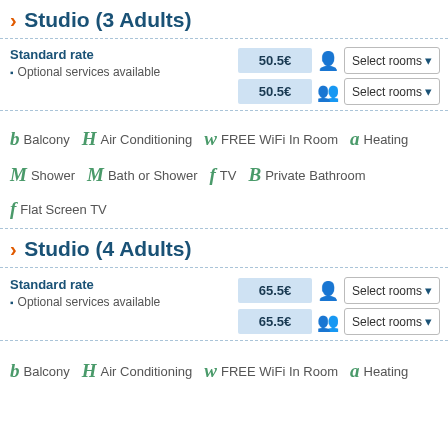Studio (3 Adults)
Standard rate
Optional services available
50.5€ | Select rooms
50.5€ | Select rooms
Balcony · Air Conditioning · FREE WiFi In Room · Heating
Shower · Bath or Shower · TV · Private Bathroom
Flat Screen TV
Studio (4 Adults)
Standard rate
Optional services available
65.5€ | Select rooms
65.5€ | Select rooms
Balcony · Air Conditioning · FREE WiFi In Room · Heating